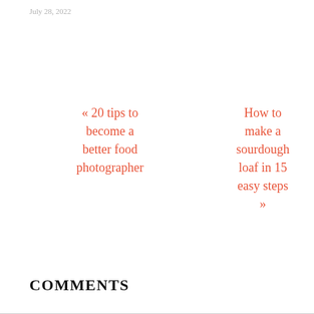July 28, 2022
« 20 tips to become a better food photographer
How to make a sourdough loaf in 15 easy steps »
COMMENTS